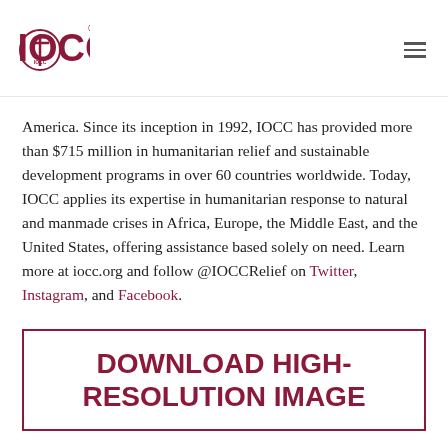IOCC
America. Since its inception in 1992, IOCC has provided more than $715 million in humanitarian relief and sustainable development programs in over 60 countries worldwide. Today, IOCC applies its expertise in humanitarian response to natural and manmade crises in Africa, Europe, the Middle East, and the United States, offering assistance based solely on need. Learn more at iocc.org and follow @IOCCRelief on Twitter, Instagram, and Facebook.
DOWNLOAD HIGH-RESOLUTION IMAGE